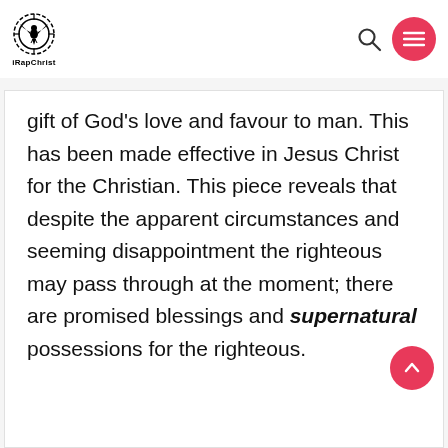iRapChrist
gift of God’s love and favour to man. This has been made effective in Jesus Christ for the Christian. This piece reveals that despite the apparent circumstances and seeming disappointment the righteous may pass through at the moment; there are promised blessings and supernatural possessions for the righteous.